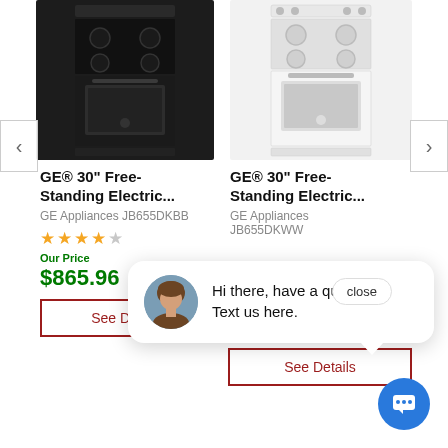[Figure (photo): Black GE 30-inch free-standing electric range stove product photo]
[Figure (photo): White GE 30-inch free-standing electric range stove product photo]
GE® 30" Free-Standing Electric...
GE Appliances JB655DKBB
GE® 30" Free-Standing Electric...
GE Appliances JB655DKWW
★★★★☆
Our Price
$865.96
See Details
See Details
Hi there, have a question? Text us here.
close